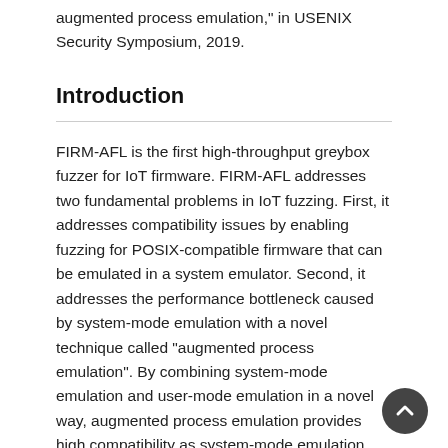augmented process emulation," in USENIX Security Symposium, 2019.
Introduction
FIRM-AFL is the first high-throughput greybox fuzzer for IoT firmware. FIRM-AFL addresses two fundamental problems in IoT fuzzing. First, it addresses compatibility issues by enabling fuzzing for POSIX-compatible firmware that can be emulated in a system emulator. Second, it addresses the performance bottleneck caused by system-mode emulation with a novel technique called "augmented process emulation". By combining system-mode emulation and user-mode emulation in a novel way, augmented process emulation provides high compatibility as system-mode emulation and high throughput as user-mode emulation. The overview is show in Figure 1.